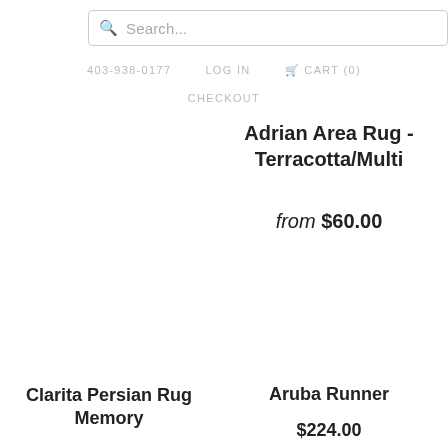Search...
403-938-0177   LOG IN   CART (0)   CHECKOUT
Adrian Area Rug - Terracotta/Multi
from $60.00
Clarita Persian Rug Memory
Aruba Runner
$224.00